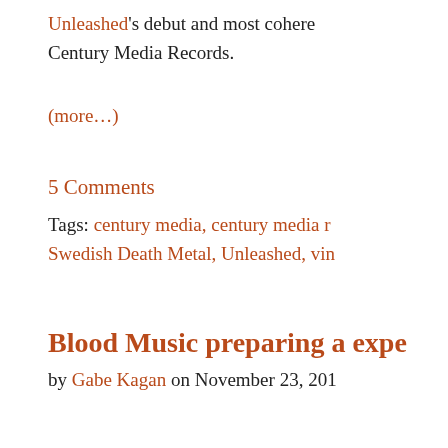Unleashed's debut and most cohere
Century Media Records.
(more…)
5 Comments
Tags: century media, century media r…
Swedish Death Metal, Unleashed, vin…
Blood Music preparing a expe…
by Gabe Kagan on November 23, 201…